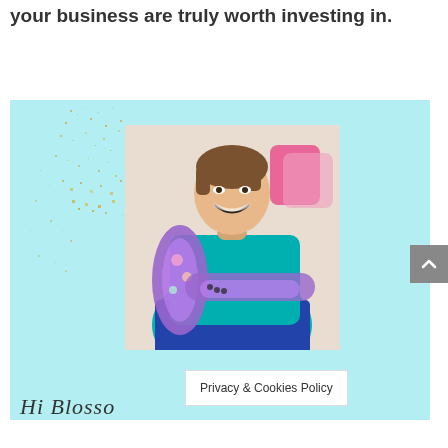your business are truly worth investing in.
[Figure (photo): A smiling woman with short brown hair, wearing a teal/turquoise jacket with colorful patterned sleeves, sitting cross-legged. Background is a light teal color with gold glitter decorative elements overlaid. Partially visible text at bottom reads 'Hi Blosso...']
Hi Blosso
Privacy & Cookies Policy